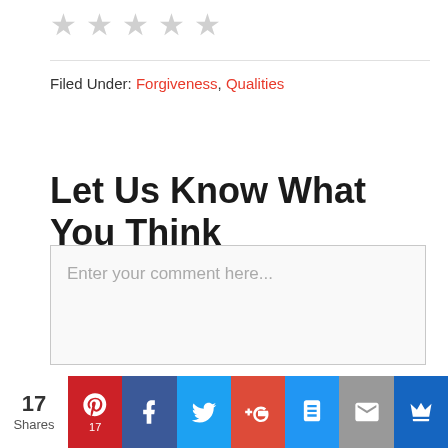[Figure (other): Five gray star rating icons (empty/unselected stars) at top of page]
Filed Under: Forgiveness, Qualities
Let Us Know What You Think
Enter your comment here...
17 Shares | Pinterest 17 | Facebook | Twitter | Google+ | SMS | Email | Crown